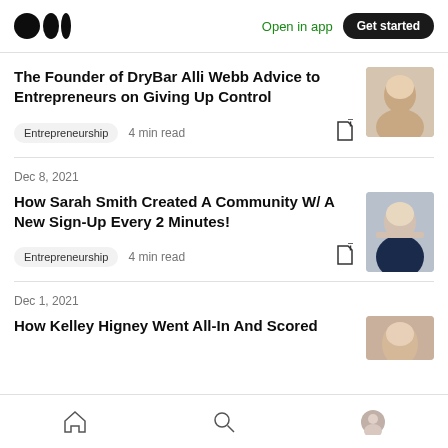Medium logo | Open in app | Get started
The Founder of DryBar Alli Webb Advice to Entrepreneurs on Giving Up Control
Entrepreneurship · 4 min read
Dec 8, 2021
How Sarah Smith Created A Community W/ A New Sign-Up Every 2 Minutes!
Entrepreneurship · 4 min read
Dec 1, 2021
How Kelley Higney Went All-In And Scored
Home | Search | Profile